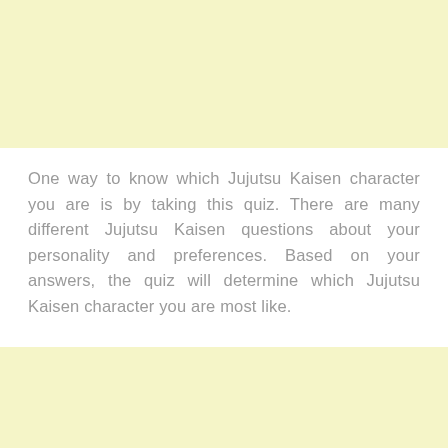One way to know which Jujutsu Kaisen character you are is by taking this quiz. There are many different Jujutsu Kaisen questions about your personality and preferences. Based on your answers, the quiz will determine which Jujutsu Kaisen character you are most like.